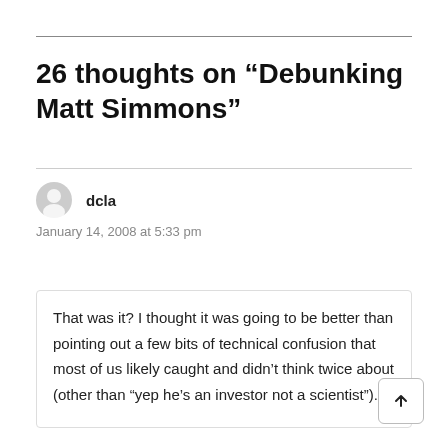26 thoughts on “Debunking Matt Simmons”
dcla
January 14, 2008 at 5:33 pm
That was it? I thought it was going to be better than pointing out a few bits of technical confusion that most of us likely caught and didn’t think twice about (other than “yep he’s an investor not a scientist”).